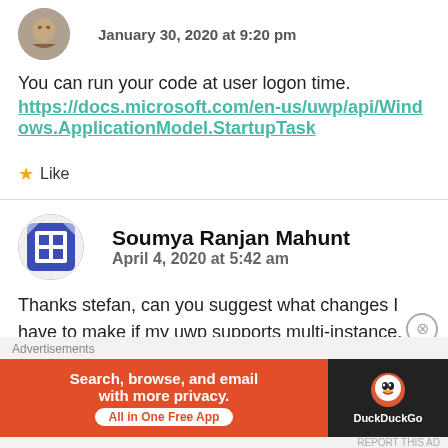January 30, 2020 at 9:20 pm
You can run your code at user logon time. https://docs.microsoft.com/en-us/uwp/api/Windows.ApplicationModel.StartupTask
★ Like
Soumya Ranjan Mahunt
April 4, 2020 at 5:42 am
Thanks stefan, can you suggest what changes I have to make if my uwp supports multi-instance. Current method gives me compiling error.
Advertisements
Search, browse, and email with more privacy. All in One Free App
DuckDuckGo